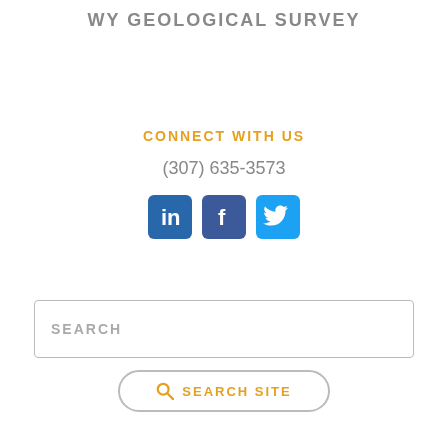WY GEOLOGICAL SURVEY
CONNECT WITH US
(307) 635-3573
[Figure (infographic): Social media icons: LinkedIn, Facebook, Twitter (blue squares with white logos)]
SEARCH
SEARCH SITE